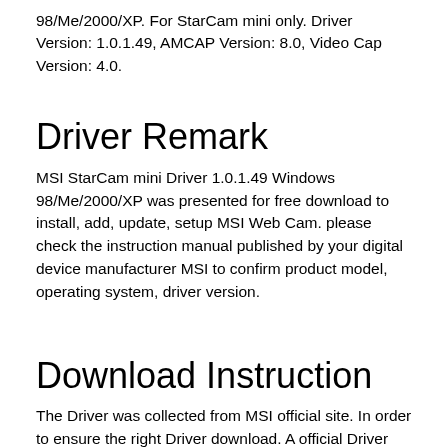98/Me/2000/XP. For StarCam mini only. Driver Version: 1.0.1.49, AMCAP Version: 8.0, Video Cap Version: 4.0.
Driver Remark
MSI StarCam mini Driver 1.0.1.49 Windows 98/Me/2000/XP was presented for free download to install, add, update, setup MSI Web Cam. please check the instruction manual published by your digital device manufacturer MSI to confirm product model, operating system, driver version.
Download Instruction
The Driver was collected from MSI official site. In order to ensure the right Driver download. A official Driver link from